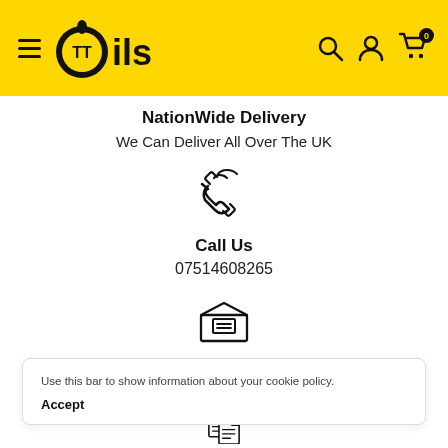[Figure (logo): TT Oils logo with hamburger menu on yellow header background, search icon, user icon, and cart icon with 0 badge]
NationWide Delivery
We Can Deliver All Over The UK
[Figure (illustration): Phone ringing icon (outline style)]
Call Us
07514608265
[Figure (illustration): Email/envelope open icon (outline style)]
Use this bar to show information about your cookie policy.
Accept
[Figure (illustration): Document/clipboard icon (outline style), partially visible at bottom]